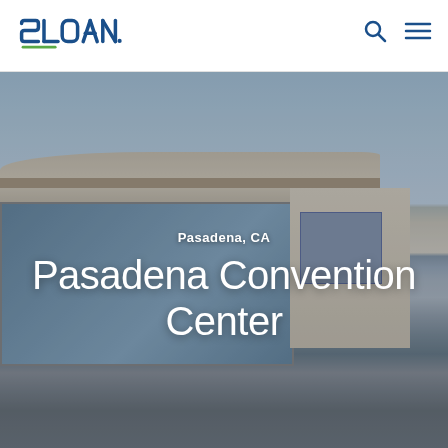[Figure (logo): Sloan brand logo in blue with green accent bar]
[Figure (photo): Exterior photo of Pasadena Convention Center building with glass facade, curved architectural roof, and blue sky]
Pasadena, CA
Pasadena Convention Center